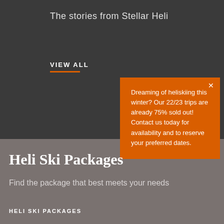The stories from Stellar Heli
VIEW ALL
Dreaming of heliskiing this winter? Our 22/23 trips are already 75% sold out! Contact us today for availability and to reserve your preferred dates.
Heli Ski Packages
Find the package that best meets your needs
HELI SKI PACKAGES